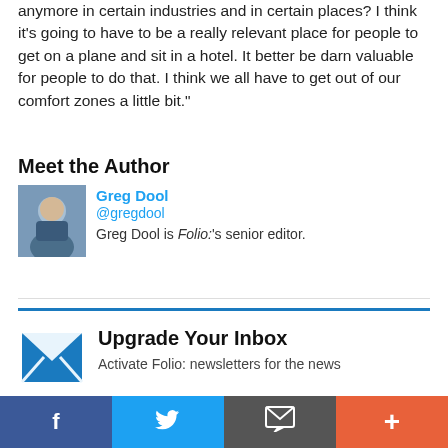anymore in certain industries and in certain places? I think it’s going to have to be a really relevant place for people to get on a plane and sit in a hotel. It better be darn valuable for people to do that. I think we all have to get out of our comfort zones a little bit.”
Meet the Author
[Figure (photo): Headshot photo of Greg Dool]
Greg Dool
@gregdool
Greg Dool is Folio:'s senior editor.
Upgrade Your Inbox
Activate Folio: newsletters for the news...